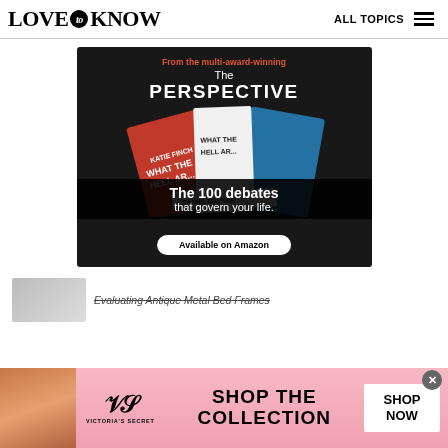LOVE to KNOW — ALL TOPICS
[Figure (illustration): Advertisement for 'The Perspective' newsletter/publication. Dark background with red, white and blue books fanned out showing 'WHAT THE HELL ARE...' text. Overlaid text reads: 'From the multi-award-winning', 'The PERSPECTIVE', 'The 100 debates that govern your life.' with an 'Available on Amazon' button.]
[Figure (illustration): Partial preview thumbnail of an article about Evaluating Antique Metal Bed Frames]
Evaluating Antique Metal Bed Frames
[Figure (illustration): Victoria's Secret advertisement banner. Pink gradient background with a model on the left, Victoria's Secret logo in center, 'SHOP THE COLLECTION' text, and a white 'SHOP NOW' button on the right.]